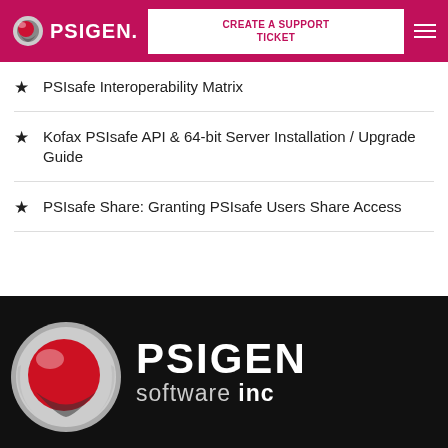PSIGEN. | CREATE A SUPPORT TICKET
PSIsafe Interoperability Matrix
Kofax PSIsafe API & 64-bit Server Installation / Upgrade Guide
PSIsafe Share: Granting PSIsafe Users Share Access
[Figure (logo): PSIGEN Software Inc. branding footer with red and silver orb logo and white text on black background]